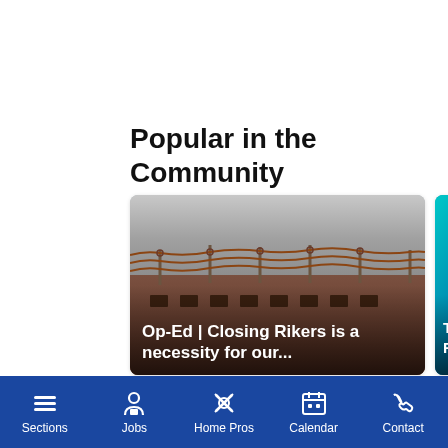Popular in the Community
[Figure (photo): Photo of a prison facility with barbed wire fence and overcast sky, with overlay text 'Op-Ed | Closing Rikers is a necessity for our...']
[Figure (photo): Partially visible photo of a person against a teal/blue background, with overlay text 'Throgg... Forte c...']
Darren · 2d
ra
Thank you so much Imam Abdul Rahman for your voice and...
I would ... win, but...
Sections  Jobs  Home Pros  Calendar  Contact